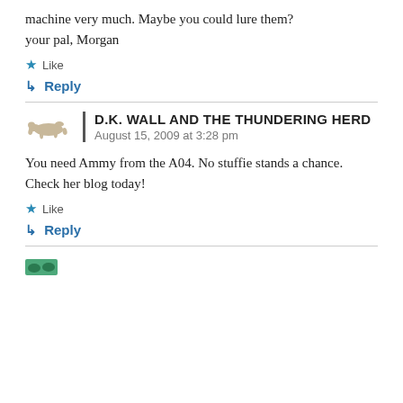machine very much. Maybe you could lure them?
your pal, Morgan
Like
↳ Reply
D.K. WALL AND THE THUNDERING HERD
August 15, 2009 at 3:28 pm
You need Ammy from the A04. No stuffie stands a chance. Check her blog today!
Like
↳ Reply